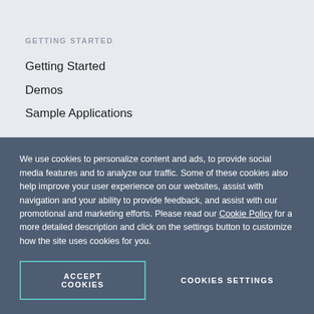GETTING STARTED
Getting Started
Demos
Sample Applications
SUPPORT RESOURCES
Knowledge Base
COMMUNITY
Forums
We use cookies to personalize content and ads, to provide social media features and to analyze our traffic. Some of these cookies also help improve your user experience on our websites, assist with navigation and your ability to provide feedback, and assist with our promotional and marketing efforts. Please read our Cookie Policy for a more detailed description and click on the settings button to customize how the site uses cookies for you.
ACCEPT COOKIES
COOKIES SETTINGS